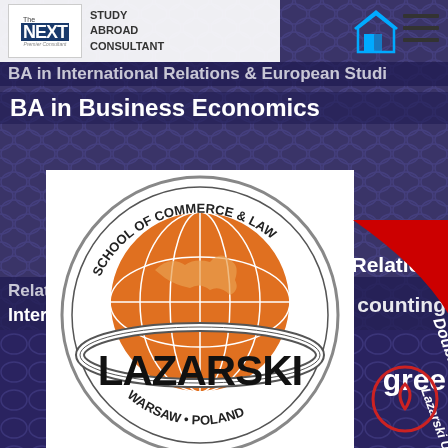[Figure (logo): The NEXT Study Abroad Consultant logo - top left header]
[Figure (logo): Home and menu navigation icons - top right]
BA in  International Relations & European Studi...
BA in  Business Economics
[Figure (logo): Lazarski University - School of Commerce & Law, Warsaw Poland circular logo]
Relations
counting
[Figure (illustration): Red curved banner with text 'Double... Lazarski Uni...' in white italic text]
gree
Relations
International Business Economics
CONTACT US
[Figure (other): Scroll up circular arrow button - bottom right]